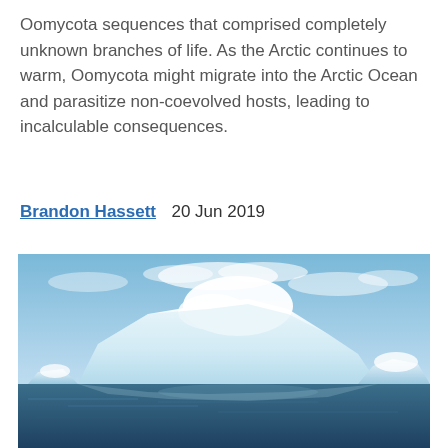Oomycota sequences that comprised completely unknown branches of life. As the Arctic continues to warm, Oomycota might migrate into the Arctic Ocean and parasitize non-coevolved hosts, leading to incalculable consequences.
Brandon Hassett   20 Jun 2019
[Figure (photo): A photograph of large icebergs floating in calm Arctic waters under a pale blue sky with scattered clouds. The icebergs are bright white and light blue, reflecting in the dark blue water below.]